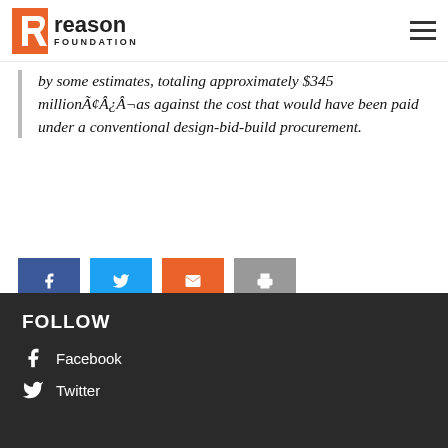Reason Foundation
by some estimates, totaling approximately $345 millionÃ¢Â¿Â¬as against the cost that would have been paid under a conventional design-bid-build procurement.
[Figure (other): Social share buttons: Facebook (blue), Twitter (light blue), Email (orange), Print (gray)]
FOLLOW
Facebook
Twitter